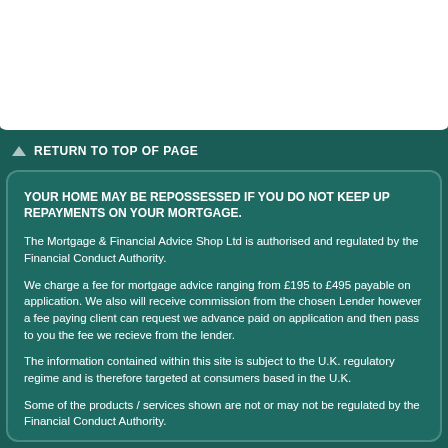RETURN TO TOP OF PAGE
YOUR HOME MAY BE REPOSSESSED IF YOU DO NOT KEEP UP REPAYMENTS ON YOUR MORTGAGE.
The Mortgage & Financial Advice Shop Ltd is authorised and regulated by the Financial Conduct Authority.
We charge a fee for mortgage advice ranging from £195 to £495 payable on application. We also will receive commission from the chosen Lender however a fee paying client can request we advance paid on application and then pass to you the fee we recieve from the lender.
The information contained within this site is subject to the U.K. regulatory regime and is therefore targeted at consumers based in the U.K.
Some of the products / services shown are not or may not be regulated by the Financial Conduct Authority.
The Mortgage & Financial Advice Shop Ltd is registered in England and Wales. Registered office: Sopwell House, Lower Dagnall St, St Albans, Herts, AL3 4PA.